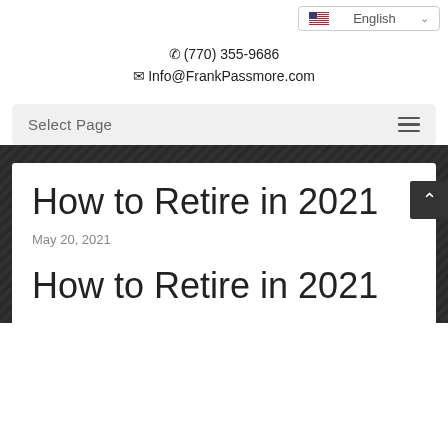English
(770) 355-9686
Info@FrankPassmore.com
Select Page
How to Retire in 2021
May 20, 2021
How to Retire in 2021